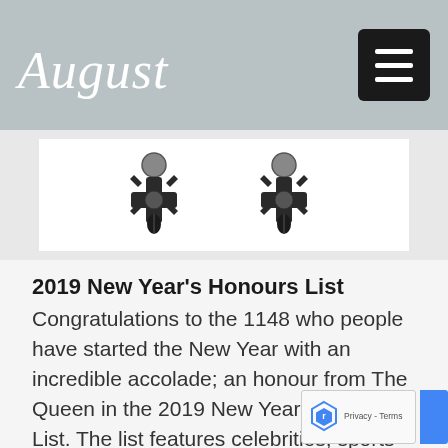August
[Figure (photo): Two dark decorative cross/snowflake shaped medallions or awards on a white background]
2019 New Year's Honours List
Congratulations to the 1148 who people have started the New Year with an incredible accolade; an honour from The Queen in the 2019 New Year's Honours List. The list features celebrities, sports professionals and extraordinary individuals, honouring them for